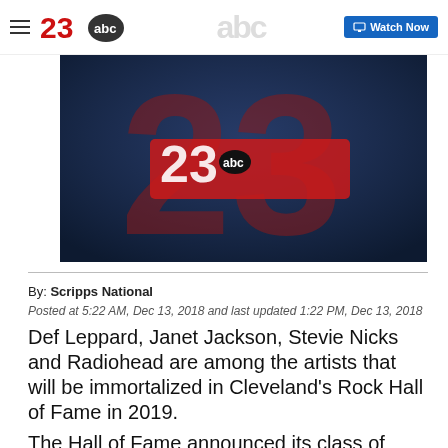23 abc | Watch Now
[Figure (screenshot): 23 ABC news station logo banner with red '23' numeral and dark blue background]
By: Scripps National
Posted at 5:22 AM, Dec 13, 2018 and last updated 1:22 PM, Dec 13, 2018
Def Leppard, Janet Jackson, Stevie Nicks and Radiohead are among the artists that will be immortalized in Cleveland's Rock Hall of Fame in 2019.
The Hall of Fame announced its class of 2019